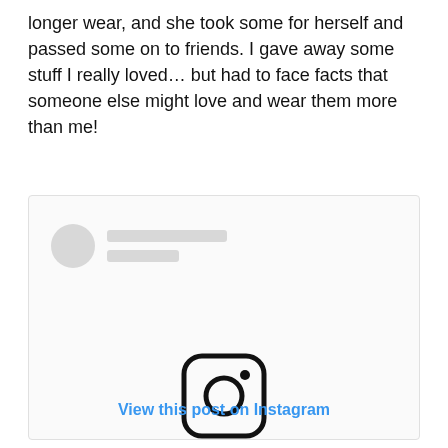longer wear, and she took some for herself and passed some on to friends. I gave away some stuff I really loved… but had to face facts that someone else might love and wear them more than me!
[Figure (screenshot): Instagram embedded post placeholder showing a blurred avatar, placeholder name lines, Instagram camera logo icon in the center, and a 'View this post on Instagram' link at the bottom.]